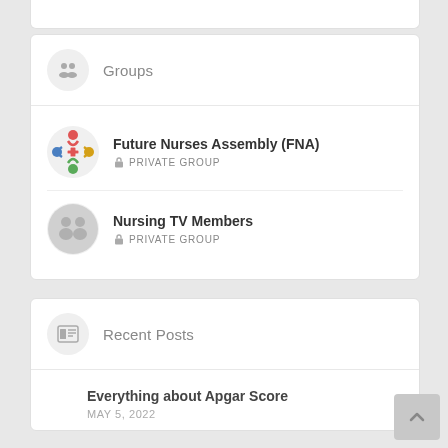Groups
Future Nurses Assembly (FNA) — PRIVATE GROUP
Nursing TV Members — PRIVATE GROUP
Recent Posts
Everything about Apgar Score
MAY 5, 2022